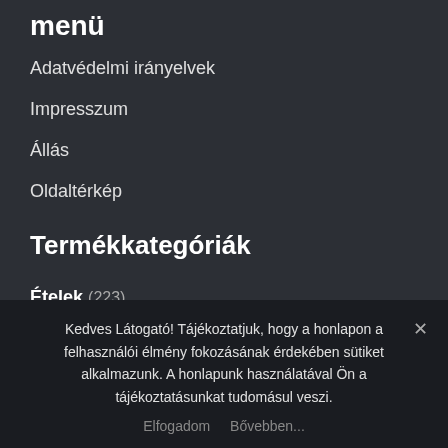menü
Adatvédelmi irányelvek
Impresszum
Állás
Oldaltérkép
Termékkategóriák
Ételek (223)
Italok (47)
Kedves Látogató! Tájékoztatjuk, hogy a honlapon a felhasználói élmény fokozásának érdekében sütiket alkalmazunk. A honlapunk használatával Ön a tájékoztatásunkat tudomásul veszi.
Elfogadom  Bővebben...